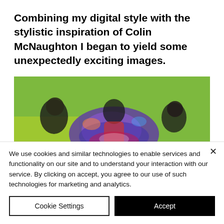Combining my digital style with the stylistic inspiration of Colin McNaughton I began to yield some unexpectedly exciting images.
[Figure (photo): A blurred/stylized illustration showing cartoon-like characters on a green background with purple and colorful elements in the center.]
We use cookies and similar technologies to enable services and functionality on our site and to understand your interaction with our service. By clicking on accept, you agree to our use of such technologies for marketing and analytics.